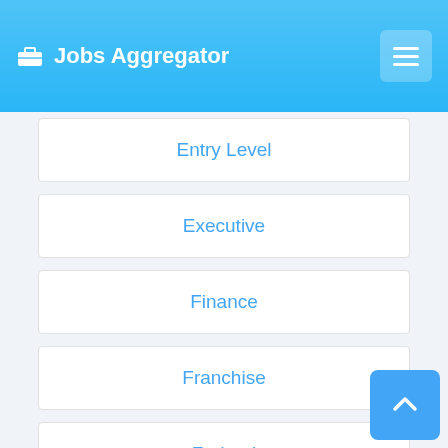Jobs Aggregator
Entry Level
Executive
Finance
Franchise
Federal
Forensic science
General Labor
Graphic Designer
Government